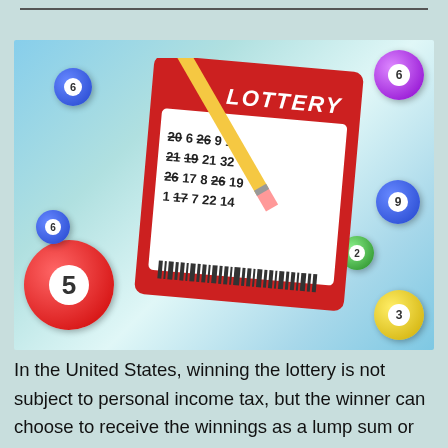[Figure (photo): Photo of a red lottery ticket with numbers and a pencil, surrounded by colorful lottery balls on a blue-green background]
In the United States, winning the lottery is not subject to personal income tax, but the winner can choose to receive the winnings as a lump sum or as a series of payments. A lump sum is